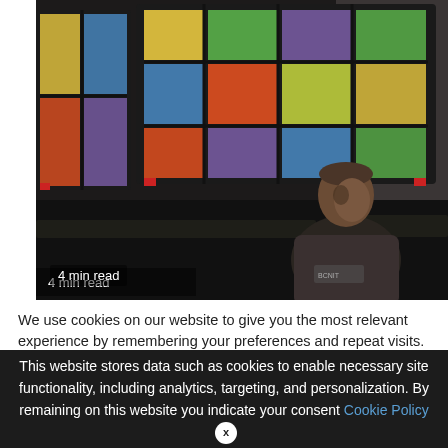[Figure (photo): A man sitting in a dark church pew with colorful stained glass windows behind him showing ornate religious imagery in greens, blues, reds, and yellows.]
4 min read
We use cookies on our website to give you the most relevant experience by remembering your preferences and repeat visits. By clicking "Accept All", you consent to the use of ALL provide a controlled consent.
This website stores data such as cookies to enable necessary site functionality, including analytics, targeting, and personalization. By remaining on this website you indicate your consent Cookie Policy